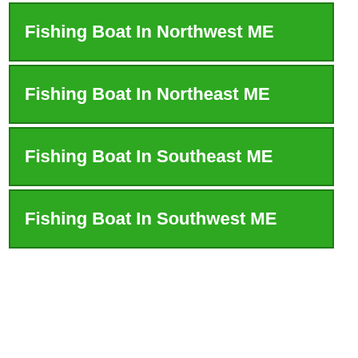Fishing Boat In Northwest ME
Fishing Boat In Northeast ME
Fishing Boat In Southeast ME
Fishing Boat In Southwest ME